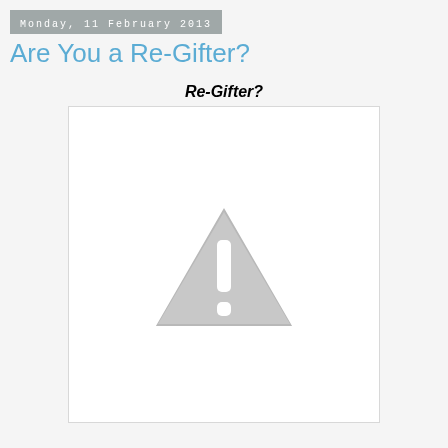Monday, 11 February 2013
Are You a Re-Gifter?
Re-Gifter?
[Figure (illustration): A grey warning/caution triangle icon with an exclamation mark, displayed inside a white bordered box. The image appears broken or missing (placeholder warning icon).]